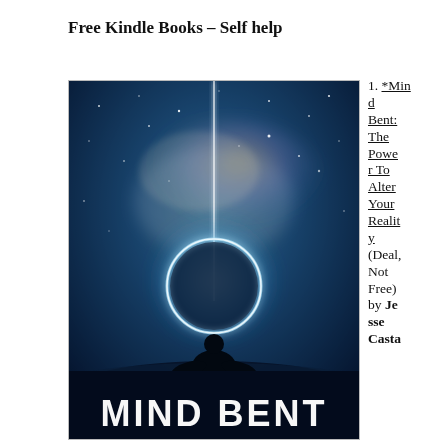Free Kindle Books – Self help
[Figure (illustration): Book cover for 'Mind Bent: The Power To Alter Your Reality' showing a meditating silhouette in lotus position beneath a glowing circular orb with a vertical light beam, set against a starry cosmic night sky with nebula clouds. The title 'MIND BENT' is displayed in large white letters at the bottom.]
*Mind Bent: The Power To Alter Your Reality (Deal, Not Free) by Jesse Casta